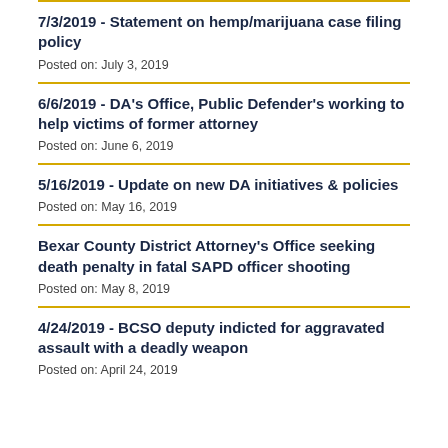7/3/2019 - Statement on hemp/marijuana case filing policy
Posted on: July 3, 2019
6/6/2019 - DA's Office, Public Defender's working to help victims of former attorney
Posted on: June 6, 2019
5/16/2019 - Update on new DA initiatives & policies
Posted on: May 16, 2019
Bexar County District Attorney's Office seeking death penalty in fatal SAPD officer shooting
Posted on: May 8, 2019
4/24/2019 - BCSO deputy indicted for aggravated assault with a deadly weapon
Posted on: April 24, 2019